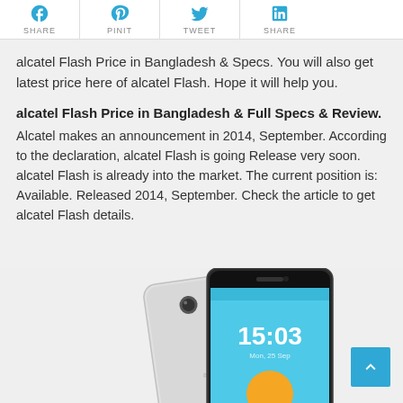[Figure (other): Social sharing bar with Facebook (SHARE), Pinterest (PINIT), Twitter (TWEET), and LinkedIn (SHARE) icons]
alcatel Flash Price in Bangladesh & Specs. You will also get latest price here of alcatel Flash. Hope it will help you.
alcatel Flash Price in Bangladesh & Full Specs & Review.
Alcatel makes an announcement in 2014, September. According to the declaration, alcatel Flash is going Release very soon. alcatel Flash is already into the market. The current position is: Available. Released 2014, September. Check the article to get alcatel Flash details.
[Figure (photo): Photo of alcatel Flash smartphone showing front and back views. Front shows the screen with time 15:03 and a sun/weather widget on a blue background. Back shows the silver/white body with camera lens.]